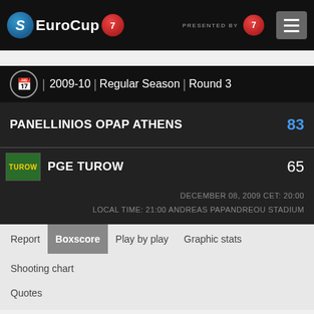EuroCup 7DAYS | PRESENTED BY 7DAYS
2009-10 | Regular Season | Round 3
PANELLINIOS OPAP ATHENS  83
PGE TUROW  65
DECEMBER 08, 2009 CET: 20:00
LOCAL TIME: 21:00 ANDREAS PAPANDREOU STADIUM
Report  Boxscore  Play by play  Graphic stats  Shooting chart  Quotes
Referees: FACCHINI, FABIO; SHEMMESH, SEFFI; MILOJEVIC, ALEKSANDAR
Attendance: 200
| By Quarter | 1 | 2 | 3 | 4 |
| --- | --- | --- | --- | --- |